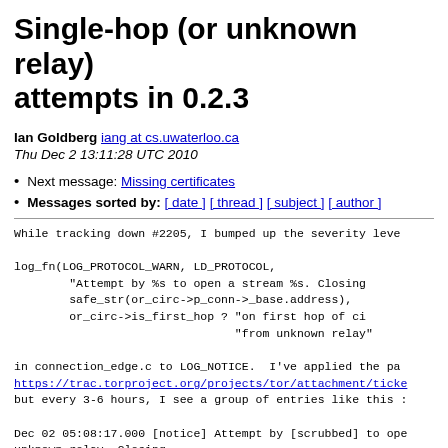Single-hop (or unknown relay) attempts in 0.2.3
Ian Goldberg iang at cs.uwaterloo.ca
Thu Dec 2 13:11:28 UTC 2010
Next message: Missing certificates
Messages sorted by: [ date ] [ thread ] [ subject ] [ author ]
While tracking down #2205, I bumped up the severity level

log_fn(LOG_PROTOCOL_WARN, LD_PROTOCOL,
        "Attempt by %s to open a stream %s. Closing
        safe_str(or_circ->p_conn->_base.address),
        or_circ->is_first_hop ? "on first hop of ci
                                "from unknown relay"

in connection_edge.c to LOG_NOTICE.  I've applied the pa
https://trac.torproject.org/projects/tor/attachment/ticke
but every 3-6 hours, I see a group of entries like this :

Dec 02 05:08:17.000 [notice] Attempt by [scrubbed] to ope
unknown relay. Closing.
Dec 02 05:08:18.000 [notice] Attempt by [scrubbed] to ope